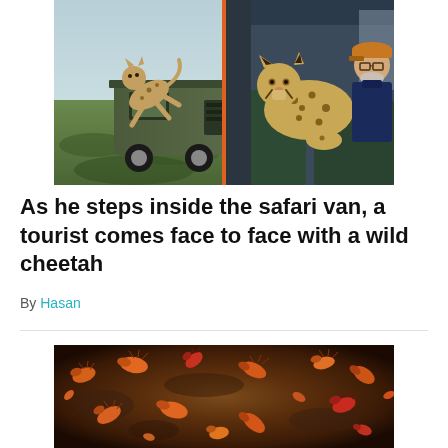[Figure (photo): A composite photo showing two scenes: on the left, a cheetah leaping onto a safari vehicle in an open savanna; on the right, a cheetah sitting inside a safari van very close to a tourist wearing a cap.]
As he steps inside the safari van, a tourist comes face to face with a wild cheetah
By Hasan
[Figure (photo): Close-up photo of many cockroaches and beetle-like insects crawling on a dark muddy surface, with orange and red coloring.]